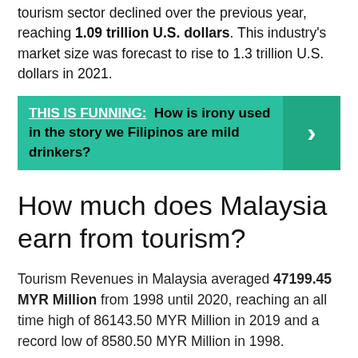tourism sector declined over the previous year, reaching 1.09 trillion U.S. dollars. This industry's market size was forecast to rise to 1.3 trillion U.S. dollars in 2021.
THIS IS FUNNING: How is irony used in the story we Filipinos are mild drinkers?
How much does Malaysia earn from tourism?
Tourism Revenues in Malaysia averaged 47199.45 MYR Million from 1998 until 2020, reaching an all time high of 86143.50 MYR Million in 2019 and a record low of 8580.50 MYR Million in 1998.